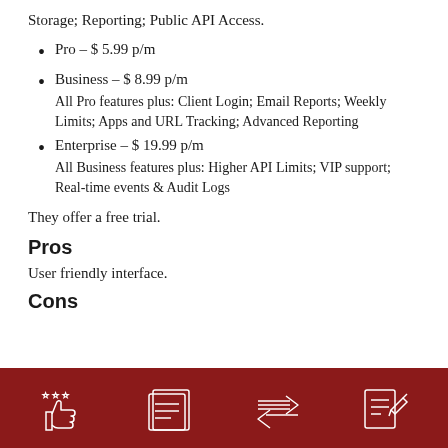Storage; Reporting; Public API Access.
Pro – $ 5.99 p/m
Business – $ 8.99 p/m
All Pro features plus: Client Login; Email Reports; Weekly Limits; Apps and URL Tracking; Advanced Reporting
Enterprise – $ 19.99 p/m
All Business features plus: Higher API Limits; VIP support; Real-time events & Audit Logs
They offer a free trial.
Pros
User friendly interface.
Cons
[Figure (infographic): Dark red footer bar with four white line icons: thumbs up with stars, document/list, arrows, and notepad with pen]